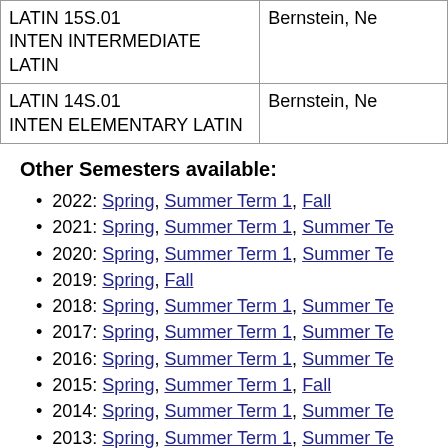| Course | Instructor |
| --- | --- |
| LATIN 15S.01
INTEN INTERMEDIATE LATIN | Bernstein, Ne… |
| LATIN 14S.01
INTEN ELEMENTARY LATIN | Bernstein, Ne… |
Other Semesters available:
2022: Spring, Summer Term 1, Fall
2021: Spring, Summer Term 1, Summer Te…
2020: Spring, Summer Term 1, Summer Te…
2019: Spring, Fall
2018: Spring, Summer Term 1, Summer Te…
2017: Spring, Summer Term 1, Summer Te…
2016: Spring, Summer Term 1, Summer Te…
2015: Spring, Summer Term 1, Fall
2014: Spring, Summer Term 1, Summer Te…
2013: Spring, Summer Term 1, Summer Te…
2012: Spring, Summer Term 1, Summer Te…
2011: Spring, Summer Term 1, Fall
2010: Spring, Summer Term 1, Summer Te…
2009: Spring, Summer Term 1, Summer Te…
2008: Spring, Summer Term 1, Summer Te…
2007: Spring, Summer Term 1, Summer Te…
2006: Spring, Summer Term 1, Summer Te…
2005: Spring, Summer Term 1, …